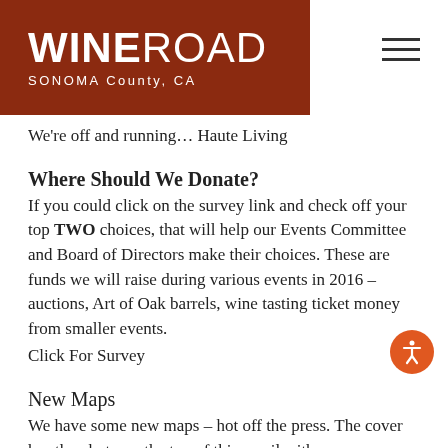[Figure (logo): Wine Road Sonoma County CA logo on dark red/brown background]
We're off and running… Haute Living
Where Should We Donate?
If you could click on the survey link and check off your top TWO choices, that will help our Events Committee and Board of Directors make their choices. These are funds we will raise during various events in 2016 – auctions, Art of Oak barrels, wine tasting ticket money from smaller events.
Click For Survey
New Maps
We have some new maps – hot off the press. The cover has the photo on the top of this email with a